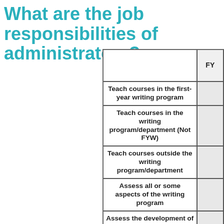What are the job responsibilities of administrators?
|  | FY... |
| --- | --- |
| Teach courses in the first-year writing program |  |
| Teach courses in the writing program/department (Not FYW) |  |
| Teach courses outside the writing program/department |  |
| Assess all or some aspects of the writing program |  |
| Assess the development of student writing on campus |  |
| Conduct faculty development with faculty across the disciplines |  |
| Conduct TA training |  |
| Consult with individual faculty across the disciplines |  |
| Consult with departments across the disciplines |  |